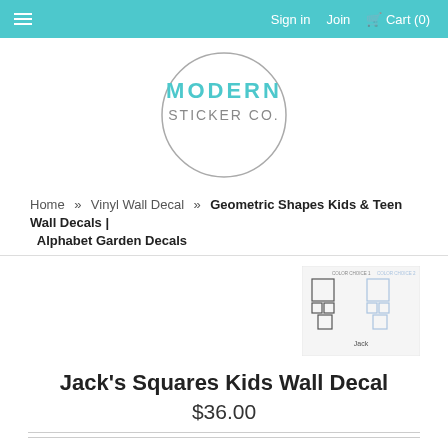≡  Sign in   Join   🛒 Cart (0)
[Figure (logo): Modern Sticker Co. circular logo with teal text inside a circle]
Home » Vinyl Wall Decal » Geometric Shapes Kids & Teen Wall Decals | Alphabet Garden Decals
[Figure (photo): Small thumbnail preview image of Jack's Squares Kids Wall Decal showing geometric square patterns in two color options, labeled 'Jack']
Jack's Squares Kids Wall Decal
$36.00